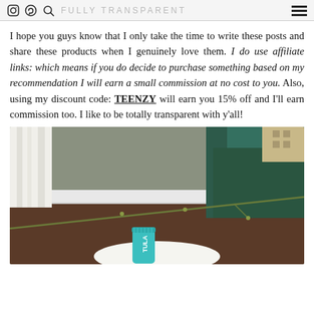FULLY TRANSPARENT
I hope you guys know that I only take the time to write these posts and share these products when I genuinely love them. I do use affiliate links: which means if you do decide to purchase something based on my recommendation I will earn a small commission at no cost to you. Also, using my discount code: TEENZY will earn you 15% off and I'll earn commission too. I like to be totally transparent with y'all!
[Figure (photo): A teal TULA skincare product tube sitting on a white round surface, with a green velvet chair and olive-colored wall in the background, and a plant branch in the foreground.]